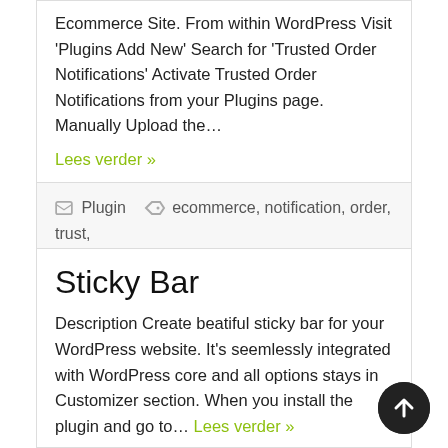Ecommerce Site. From within WordPress Visit 'Plugins Add New' Search for 'Trusted Order Notifications' Activate Trusted Order Notifications from your Plugins page. Manually Upload the…
Lees verder »
Plugin   ecommerce, notification, order, trust, woocommerce
Sticky Bar
Description Create beatiful sticky bar for your WordPress website. It's seemlessly integrated with WordPress core and all options stays in Customizer section. When you install the plugin and go to… Lees verder »